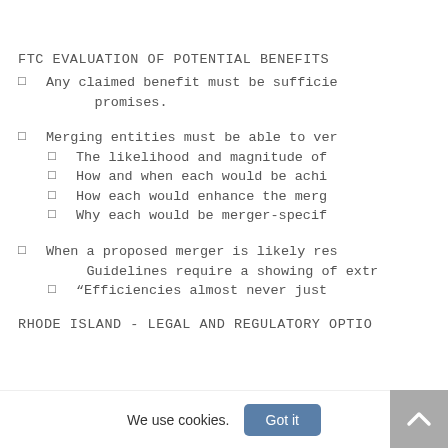FTC EVALUATION OF POTENTIAL BENEFITS
Any claimed benefit must be sufficie promises.
Merging entities must be able to ver
The likelihood and magnitude of
How and when each would be achi
How each would enhance the merg
Why each would be merger-specif
When a proposed merger is likely res Guidelines require a showing of extr
“Efficiencies almost never just
RHODE ISLAND - LEGAL AND REGULATORY OPTIO